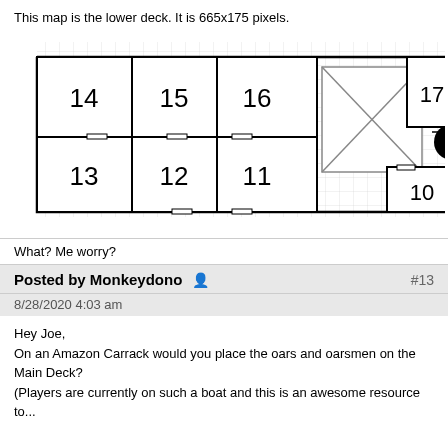This map is the lower deck. It is 665x175 pixels.
[Figure (engineering-diagram): Floor plan diagram of a ship's lower deck showing numbered rooms/cabins (10-17), with an X-marked area (cargo hold or hatch), a solid black circle, and staircase markings. Rooms labeled 14, 15, 16 on upper row and 13, 12, 11 on lower row on left side; room 17 top right; room 10 bottom right. Grid background.]
What? Me worry?
Posted by Monkeydono
#13
8/28/2020 4:03 am
Hey Joe,
On an Amazon Carrack would you place the oars and oarsmen on the Main Deck?
(Players are currently on such a boat and this is an awesome resource to...